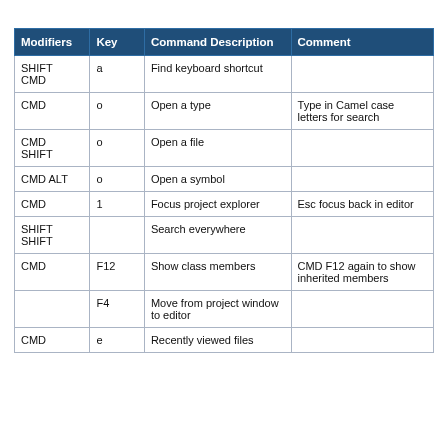| Modifiers | Key | Command Description | Comment |
| --- | --- | --- | --- |
| SHIFT CMD | a | Find keyboard shortcut |  |
| CMD | o | Open a type | Type in Camel case letters for search |
| CMD SHIFT | o | Open a file |  |
| CMD ALT | o | Open a symbol |  |
| CMD | 1 | Focus project explorer | Esc focus back in editor |
| SHIFT SHIFT |  | Search everywhere |  |
| CMD | F12 | Show class members | CMD F12 again to show inherited members |
|  | F4 | Move from project window to editor |  |
| CMD | e | Recently viewed files |  |